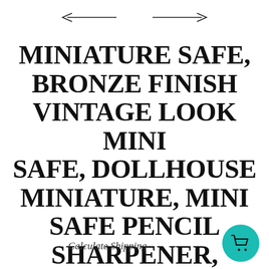[Figure (other): Navigation arrows: left arrow with line on left, right arrow with line on right, separated by a gap, displayed at top center of page]
MINIATURE SAFE, BRONZE FINISH VINTAGE LOOK MINI SAFE, DOLLHOUSE MINIATURE, MINI SAFE PENCIL SHARPENER, DOLLHOUSE DECOR
Calculate Shipping
[Figure (other): Teal/turquoise circular button with a shopping cart icon in black, positioned bottom right]